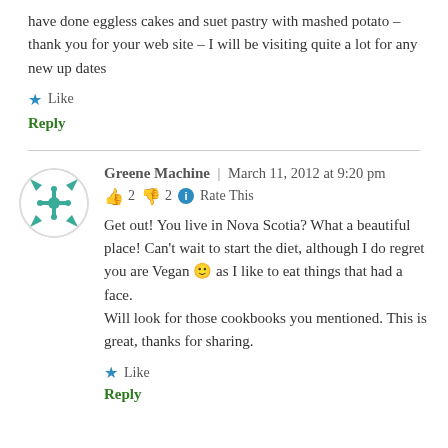have done eggless cakes and suet pastry with mashed potato – thank you for your web site – I will be visiting quite a lot for any new up dates
★ Like
Reply
[Figure (illustration): Circular avatar with teal/green snowflake or geometric pattern on white background]
Greene Machine | March 11, 2012 at 9:20 pm
👍 2 👎 2 ℹ Rate This
Get out! You live in Nova Scotia? What a beautiful place! Can't wait to start the diet, although I do regret you are Vegan 🙂 as I like to eat things that had a face.
Will look for those cookbooks you mentioned. This is great, thanks for sharing.
★ Like
Reply